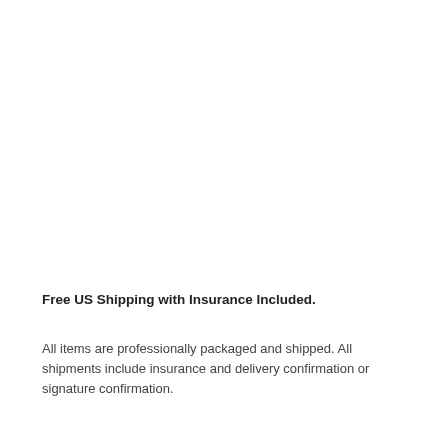Free US Shipping with Insurance Included.
All items are professionally packaged and shipped. All shipments include insurance and delivery confirmation or signature confirmation.